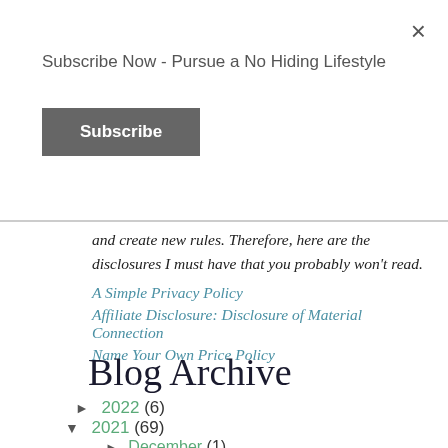Subscribe Now - Pursue a No Hiding Lifestyle
Subscribe
and create new rules. Therefore, here are the disclosures I must have that you probably won't read.
A Simple Privacy Policy
Affiliate Disclosure: Disclosure of Material Connection
Name Your Own Price Policy
Blog Archive
► 2022 (6)
▼ 2021 (69)
► December (1)